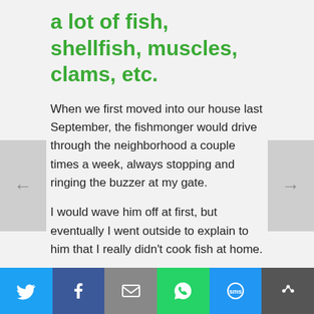a lot of fish, shellfish, muscles, clams, etc.
When we first moved into our house last September, the fishmonger would drive through the neighborhood a couple times a week, always stopping and ringing the buzzer at my gate.
I would wave him off at first, but eventually I went outside to explain to him that I really didn't cook fish at home.
Was it my imagination or did I see a little tear escape from the corner of his eye?
He didn't understand.  How can it be that I don't cook